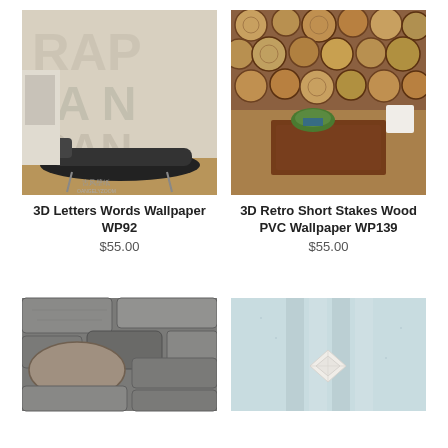[Figure (photo): 3D letters/words wallpaper in a room with a chaise lounge chair]
[Figure (photo): 3D retro short stakes wood PVC wallpaper with logs cross-section pattern, tea table and plant in foreground]
3D Letters Words Wallpaper WP92
$55.00
3D Retro Short Stakes Wood PVC Wallpaper WP139
$55.00
[Figure (photo): Stone wall wallpaper showing large grey and brown stones]
[Figure (photo): Light blue/white textured wallpaper with a small white geometric ornament]